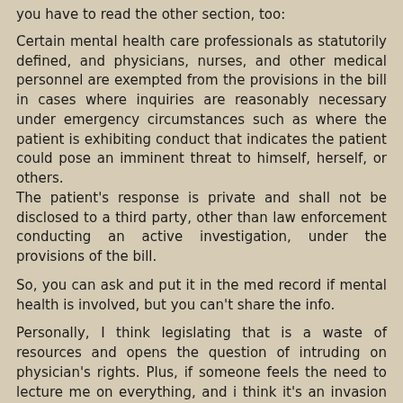you have to read the other section, too:
Certain mental health care professionals as statutorily defined, and physicians, nurses, and other medical personnel are exempted from the provisions in the bill in cases where inquiries are reasonably necessary under emergency circumstances such as where the patient is exhibiting conduct that indicates the patient could pose an imminent threat to himself, herself, or others. The patient's response is private and shall not be disclosed to a third party, other than law enforcement conducting an active investigation, under the provisions of the bill.
So, you can ask and put it in the med record if mental health is involved, but you can't share the info.
Personally, I think legislating that is a waste of resources and opens the question of intruding on physician's rights. Plus, if someone feels the need to lecture me on everything, and i think it's an invasion of my privacy, maybe